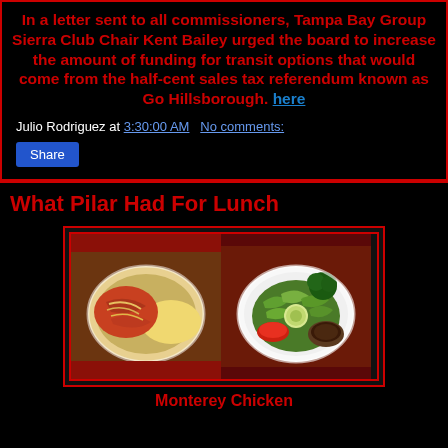In a letter sent to all commissioners, Tampa Bay Group Sierra Club Chair Kent Bailey urged the board to increase the amount of funding for transit options that would come from the half-cent sales tax referendum known as Go Hillsborough. here
Julio Rodriguez at 3:30:00 AM   No comments:
Share
What Pilar Had For Lunch
[Figure (photo): Two food photos side by side: left shows a plate with pasta/chicken dish with rice and red sauce; right shows a salad plate with greens, cucumbers, tomato, and a small bowl of dressing.]
Monterey Chicken